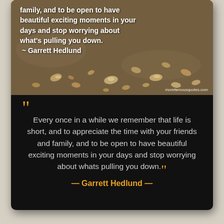[Figure (photo): Photo of small shells and pebbles scattered on a sandy brown surface, with overlaid white text quote and morefamousquotes.com watermark]
Every once in a while we remember that life is short, and to appreciate the time with your friends and family, and to be open to have beautiful exciting moments in your days and stop worrying about whats pulling you down.
— Garrett Hedlund —